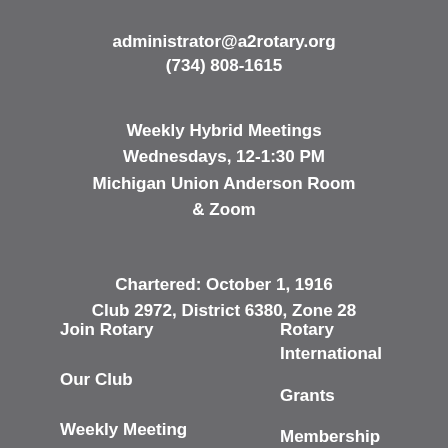administrator@a2rotary.org
(734) 808-1615
Weekly Hybrid Meetings
Wednesdays, 12-1:30 PM
Michigan Union Anderson Room
& Zoom
Chartered: October 1, 1916
Club 2972, District 6380, Zone 28
Join Rotary
Our Club
Weekly Meeting
Service Projects
Rotary International
Grants
Membership Info